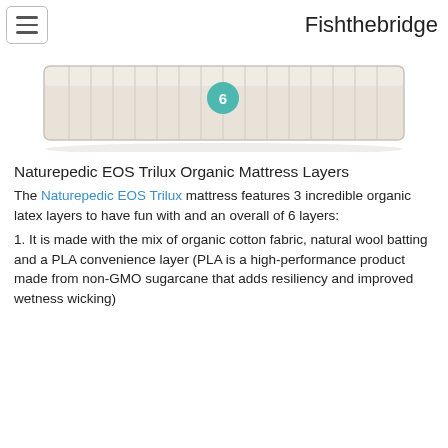Fishthebridge
[Figure (photo): A Naturepedic EOS Trilux organic mattress shown from the side with a teal circle badge showing the number 6, with a beige/cream quilted top surface]
Naturepedic EOS Trilux Organic Mattress Layers
The Naturepedic EOS Trilux mattress features 3 incredible organic latex layers to have fun with and an overall of 6 layers:
1. It is made with the mix of organic cotton fabric, natural wool batting and a PLA convenience layer (PLA is a high-performance product made from non-GMO sugarcane that adds resiliency and improved wetness wicking)